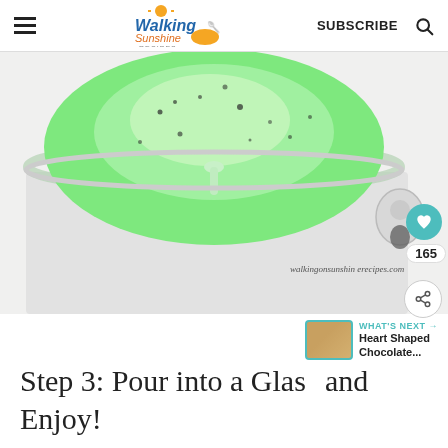Walking Sunshine Recipes — SUBSCRIBE
[Figure (photo): Top-down view of a blender with bright green smoothie mixture, showing the blender glass and base. Watermark reads 'walkingonsunshin erecipes.com']
165
WHAT'S NEXT → Heart Shaped Chocolate...
Step 3: Pour into a Glass and Enjoy!